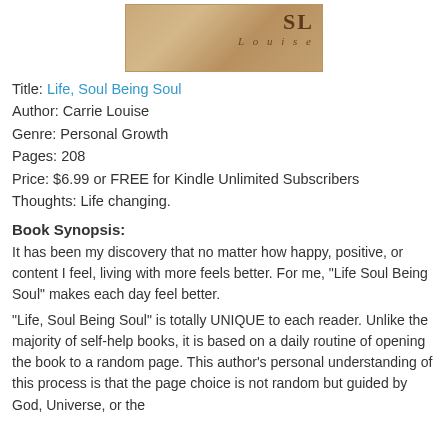[Figure (photo): Book cover showing 'Soul' and 'Louise' text on a tan/beige background]
Title: Life, Soul Being Soul
Author: Carrie Louise
Genre: Personal Growth
Pages: 208
Price: $6.99 or FREE for Kindle Unlimited Subscribers
Thoughts: Life changing.
Book Synopsis:
It has been my discovery that no matter how happy, positive, or content I feel, living with more feels better. For me, "Life Soul Being Soul" makes each day feel better.
"Life, Soul Being Soul" is totally UNIQUE to each reader. Unlike the majority of self-help books, it is based on a daily routine of opening the book to a random page. This author's personal understanding of this process is that the page choice is not random but guided by God, Universe, or the